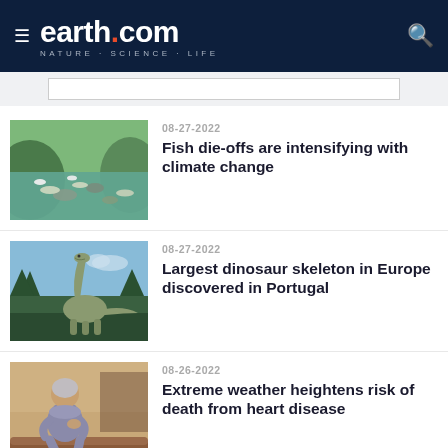earth.com · NATURE · SCIENCE · LIFE
[Figure (screenshot): Fish die-offs in a lake with green water and rocks, dead fish floating]
08-27-2022
Fish die-offs are intensifying with climate change
[Figure (illustration): Large sauropod dinosaur standing in a forest landscape]
08-27-2022
Largest dinosaur skeleton in Europe discovered in Portugal
[Figure (photo): Elderly woman sitting outdoors holding her chest, in pain]
08-26-2022
Extreme weather heightens risk of death from heart disease